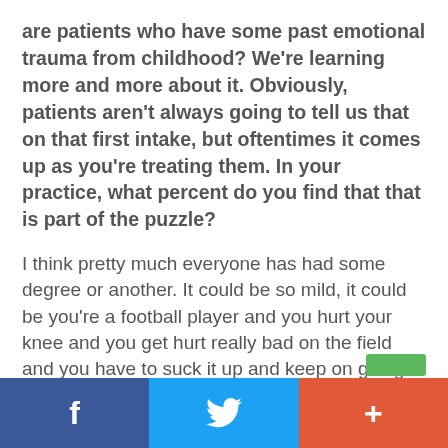are patients who have some past emotional trauma from childhood? We're learning more and more about it. Obviously, patients aren't always going to tell us that on that first intake, but oftentimes it comes up as you're treating them. In your practice, what percent do you find that that is part of the puzzle?
I think pretty much everyone has had some degree or another. It could be so mild, it could be you're a football player and you hurt your knee and you get hurt really bad on the field and you have to suck it up and keep on going. Then you're here 30 years old, all of a sudden your knee starts to hurt every once in a while.
f  [twitter]  +